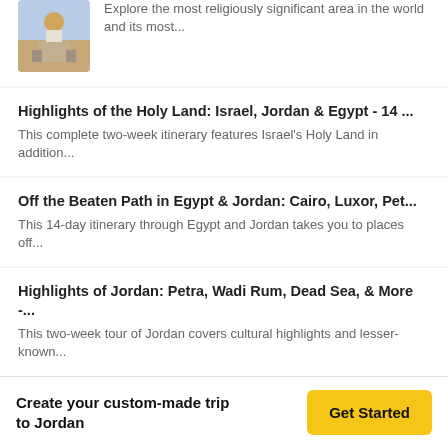Explore the most religiously significant area in the world and its most...
Highlights of the Holy Land: Israel, Jordan & Egypt - 14 ...
This complete two-week itinerary features Israel's Holy Land in addition...
Off the Beaten Path in Egypt & Jordan: Cairo, Luxor, Pet...
This 14-day itinerary through Egypt and Jordan takes you to places off...
Highlights of Jordan: Petra, Wadi Rum, Dead Sea, & More -...
This two-week tour of Jordan covers cultural highlights and lesser-known...
Jordan Adventure Trip: Dana, Petra, Wadi Rum, and Aqaba -...
This adventure-filled itinerary is perfect for travelers looking
Create your custom-made trip to Jordan